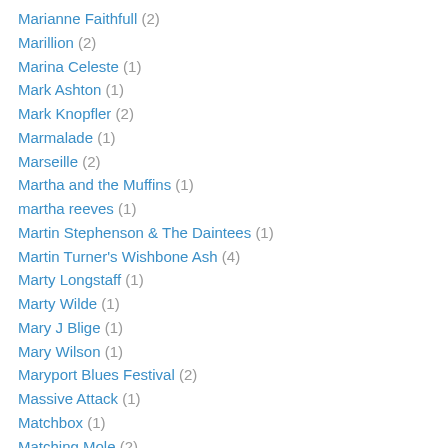Marianne Faithfull (2)
Marillion (2)
Marina Celeste (1)
Mark Ashton (1)
Mark Knopfler (2)
Marmalade (1)
Marseille (2)
Martha and the Muffins (1)
martha reeves (1)
Martin Stephenson & The Daintees (1)
Martin Turner's Wishbone Ash (4)
Marty Longstaff (1)
Marty Wilde (1)
Mary J Blige (1)
Mary Wilson (1)
Maryport Blues Festival (2)
Massive Attack (1)
Matchbox (1)
Matching Mole (2)
Max Merritt & the Meteors (1)